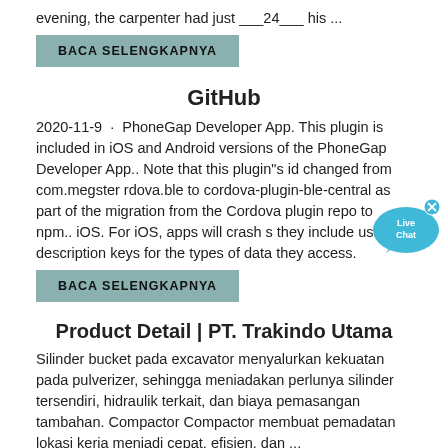evening, the carpenter had just ___24___ his ...
BACA SELENGKAPNYA
GitHub
2020-11-9 · PhoneGap Developer App. This plugin is included in iOS and Android versions of the PhoneGap Developer App.. Note that this plugin"s id changed from com.megster rdova.ble to cordova-plugin-ble-central as part of the migration from the Cordova plugin repo to npm.. iOS. For iOS, apps will crash s they include usage description keys for the types of data they access.
BACA SELENGKAPNYA
Product Detail | PT. Trakindo Utama
Silinder bucket pada excavator menyalurkan kekuatan pada pulverizer, sehingga meniadakan perlunya silinder tersendiri, hidraulik terkait, dan biaya pemasangan tambahan. Compactor Compactor membuat pemadatan lokasi kerja menjadi cepat, efisien, dan ...
BACA SELENGKAPNYA
[Figure (illustration): Live Chat bubble icon in cyan/blue color with 'Live Chat' text and an X close button]